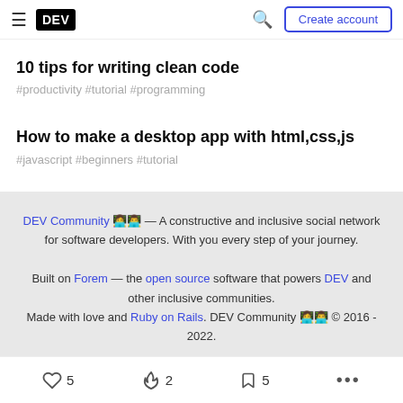DEV — Create account
10 tips for writing clean code
#productivity #tutorial #programming
How to make a desktop app with html,css,js
#javascript #beginners #tutorial
DEV Community 👩‍💻👨‍💻 — A constructive and inclusive social network for software developers. With you every step of your journey. Built on Forem — the open source software that powers DEV and other inclusive communities. Made with love and Ruby on Rails. DEV Community 👩‍💻👨‍💻 © 2016 - 2022.
♡ 5   🔥 2   🔖 5   ...